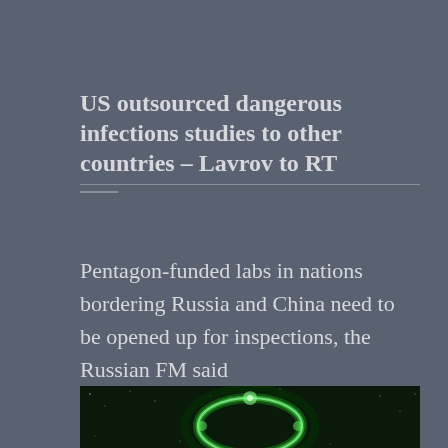US outsourced dangerous infections studies to other countries – Lavrov to RT
Pentagon-funded labs in nations bordering Russia and China need to be opened up for inspections, the Russian FM said
[Figure (photo): Green fluorescent microscopy image showing a glowing ring or toroidal structure against a dark starfield-like background, resembling a biological or viral structure.]